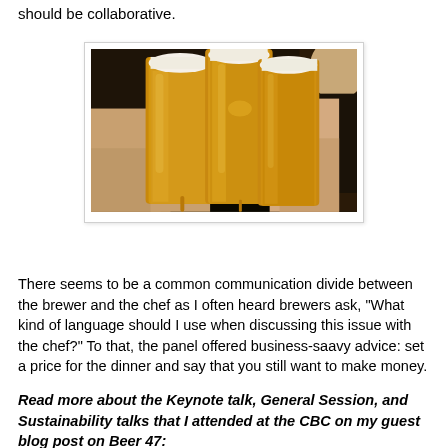should be collaborative.
[Figure (photo): Hands clinking together multiple large glass beer mugs filled with golden beer, seen from below against a dark background.]
There seems to be a common communication divide between the brewer and the chef as I often heard brewers ask, "What kind of language should I use when discussing this issue with the chef?" To that, the panel offered business-saavy advice: set a price for the dinner and say that you still want to make money.
Read more about the Keynote talk, General Session, and Sustainability talks that I attended at the CBC on my guest blog post on Beer 47: